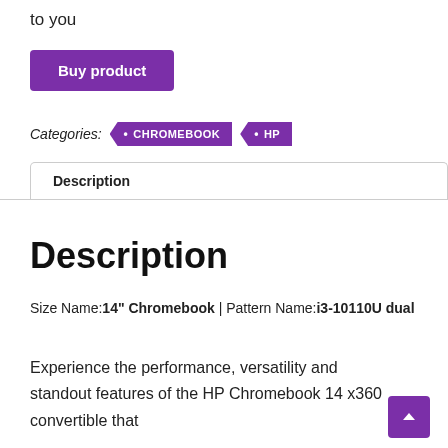to you
Buy product
Categories: • CHROMEBOOK • HP
Description
Description
Size Name:14" Chromebook | Pattern Name:i3-10110U dual
Experience the performance, versatility and standout features of the HP Chromebook 14 x360 convertible that